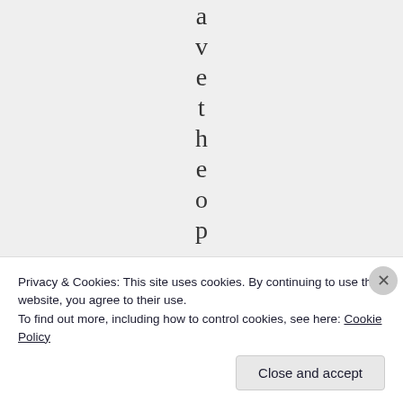a v e t h e o p e n m
Privacy & Cookies: This site uses cookies. By continuing to use this website, you agree to their use.
To find out more, including how to control cookies, see here: Cookie Policy